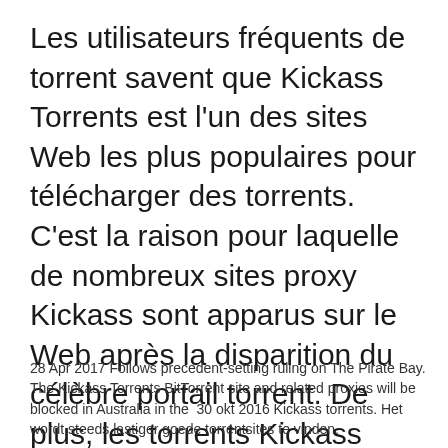Les utilisateurs fréquents de torrent savent que Kickass Torrents est l'un des sites Web les plus populaires pour télécharger des torrents. C'est la raison pour laquelle de nombreux sites proxy Kickass sont apparus sur le Web après la disparition du célèbre portail torrent. De plus, les torrents Kickass (KAT cr) sont l'un des
28 Apr 2017 Follows precedent-setting ruling on The Pirate Bay. The Kickass Torrents BitTorrent site and related proxies will be blocked in Australia in the  30 okt 2016 Kickass torrents. Het wordt steeds lastiger goede torrentsites te vinden.